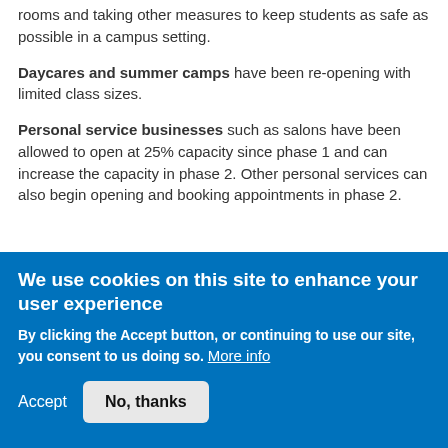rooms and taking other measures to keep students as safe as possible in a campus setting.
Daycares and summer camps have been re-opening with limited class sizes.
Personal service businesses such as salons have been allowed to open at 25% capacity since phase 1 and can increase the capacity in phase 2. Other personal services can also begin opening and booking appointments in phase 2.
We use cookies on this site to enhance your user experience
By clicking the Accept button, or continuing to use our site, you consent to us doing so. More info
Accept
No, thanks